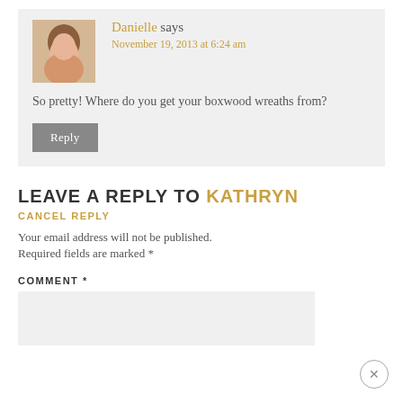Danielle says
November 19, 2013 at 6:24 am
So pretty! Where do you get your boxwood wreaths from?
Reply
LEAVE A REPLY TO KATHRYN
CANCEL REPLY
Your email address will not be published.
Required fields are marked *
COMMENT *